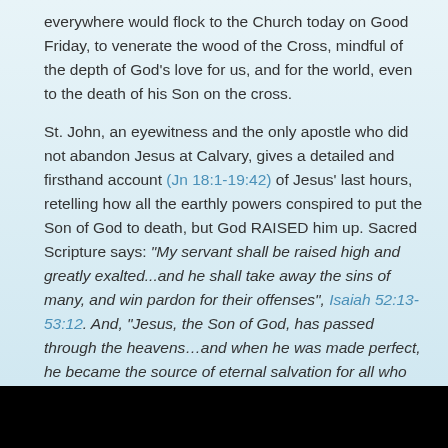everywhere would flock to the Church today on Good Friday, to venerate the wood of the Cross, mindful of the depth of God's love for us, and for the world, even to the death of his Son on the cross.
St. John, an eyewitness and the only apostle who did not abandon Jesus at Calvary, gives a detailed and firsthand account (Jn 18:1-19:42) of Jesus' last hours, retelling how all the earthly powers conspired to put the Son of God to death, but God RAISED him up. Sacred Scripture says: "My servant shall be raised high and greatly exalted...and he shall take away the sins of many, and win pardon for their offenses", Isaiah 52:13-53:12. And, "Jesus, the Son of God, has passed through the heavens…and when he was made perfect, he became the source of eternal salvation for all who obey him", Hebrews 4:14-16; 5:7-9.
[Figure (photo): Black rectangular image at the bottom of the page]